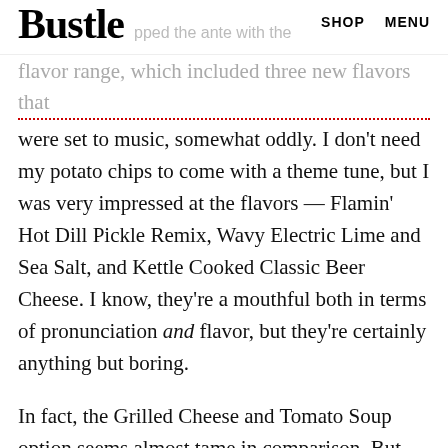Bustle  SHOP  MENU
flavor range, which included three new flavors that were set to music, somewhat oddly. I don't need my potato chips to come with a theme tune, but I was very impressed at the flavors — Flamin' Hot Dill Pickle Remix, Wavy Electric Lime and Sea Salt, and Kettle Cooked Classic Beer Cheese. I know, they're a mouthful both in terms of pronunciation and flavor, but they're certainly anything but boring.
In fact, the Grilled Cheese and Tomato Soup option seems almost tame in comparison. But sometimes you just want a basic, comforting flavor combination that will do your heart some good. For some reason, I